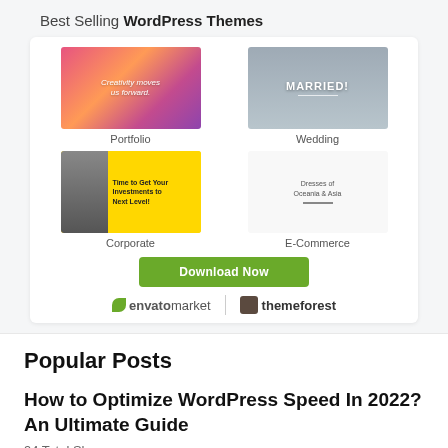Best Selling WordPress Themes
[Figure (illustration): Grid of 4 WordPress theme previews: Portfolio (colorful floral), Wedding (couple in tuxedo), Corporate (man in yellow), E-Commerce (dresses). Below is a green Download Now button, and logos for envatomarkt and themeforest.]
Popular Posts
How to Optimize WordPress Speed In 2022? An Ultimate Guide
94 Total Shares